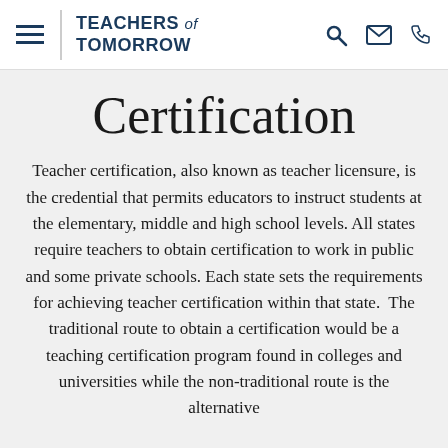Teachers of Tomorrow
Certification
Teacher certification, also known as teacher licensure, is the credential that permits educators to instruct students at the elementary, middle and high school levels. All states require teachers to obtain certification to work in public and some private schools. Each state sets the requirements for achieving teacher certification within that state. The traditional route to obtain a certification would be a teaching certification program found in colleges and universities while the non-traditional route is the alternative